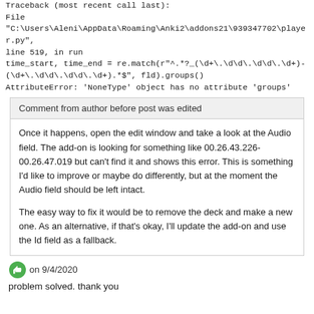Traceback (most recent call last):
File "C:\Users\Aleni\AppData\Roaming\Anki2\addons21\939347702\player.py", line 519, in run
time_start, time_end = re.match(r"^.*?_(\d+\.\d\d\.\d\d\.\d+)-(\d+\.\d\d\.\d\d\.\d+).*$", fld).groups()
AttributeError: 'NoneType' object has no attribute 'groups'
Comment from author before post was edited
Once it happens, open the edit window and take a look at the Audio field. The add-on is looking for something like 00.26.43.226-00.26.47.019 but can't find it and shows this error. This is something I'd like to improve or maybe do differently, but at the moment the Audio field should be left intact.

The easy way to fix it would be to remove the deck and make a new one. As an alternative, if that's okay, I'll update the add-on and use the Id field as a fallback.
on 9/4/2020
problem solved. thank you